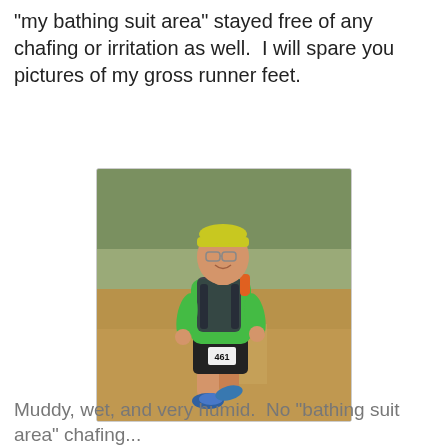"my bathing suit area" stayed free of any chafing or irritation as well.  I will spare you pictures of my gross runner feet.
[Figure (photo): A runner wearing a green t-shirt, black shorts with race bib number 461, a hydration backpack, and blue running shoes, running on a muddy trail with trees in the background.]
Muddy, wet, and very humid.  No "bathing suit area" chafing...